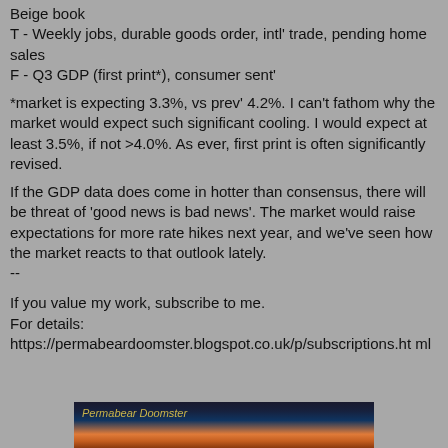Beige book
T - Weekly jobs, durable goods order, intl' trade, pending home sales
F - Q3 GDP (first print*), consumer sent'
*market is expecting 3.3%, vs prev' 4.2%. I can't fathom why the market would expect such significant cooling. I would expect at least 3.5%, if not >4.0%. As ever, first print is often significantly revised.
If the GDP data does come in hotter than consensus, there will be threat of 'good news is bad news'. The market would raise expectations for more rate hikes next year, and we've seen how the market reacts to that outlook lately.
--
If you value my work, subscribe to me.
For details:
https://permabeardoomster.blogspot.co.uk/p/subscriptions.html
[Figure (illustration): Permabear Doomster blog banner image showing a sunset/sunrise landscape with the text 'Permabear Doomster' in yellow italic font]